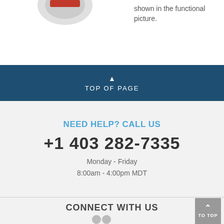shown in the functional picture.
TOP OF PAGE
NEED HELP? CALL US
+1 403 282-7335
Monday - Friday
8:00am - 4:00pm MDT
CONNECT WITH US